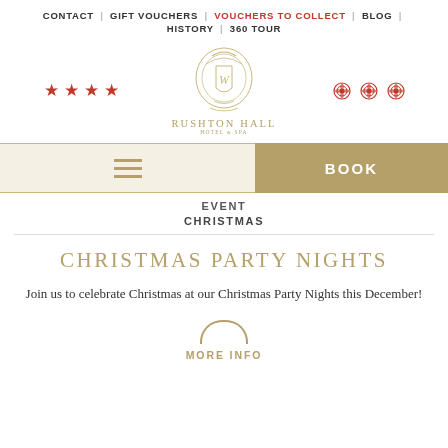CONTACT | GIFT VOUCHERS | VOUCHERS TO COLLECT | BLOG | HISTORY | 360 TOUR
[Figure (logo): Rushton Hall Hotel & Spa logo with crest, four red stars on left, three red rose emblems on right]
[Figure (other): Navigation bar with hamburger menu on left (gold/tan background) and BOOK button on right (gold background)]
EVENT
CHRISTMAS
CHRISTMAS PARTY NIGHTS
Join us to celebrate Christmas at our Christmas Party Nights this December!
MORE INFO